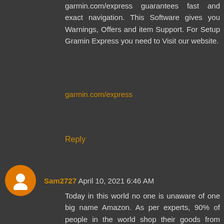garmin.com/express guarantees fast and exact navigation. This Software gives you Warnings, Offers and item Support. For Setup Gramin Express you need to Visit our website.
garmin.com/express
Reply
Sam2727 April 10, 2021 6:46 AM
Today in this world no one is unaware of one big name Amazon. As per experts, 90% of people in the world shop their goods from amazon.com. Not only in shopping but amazon made its name in the entertainment world as well. Amazon Prime Video is a new platform of amazon which